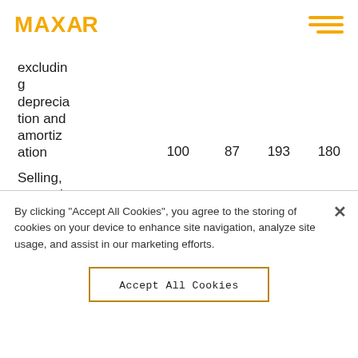MAXAR
|  |  |  |  |  |
| --- | --- | --- | --- | --- |
| excluding depreciation and amortization | 100 | 87 | 193 | 180 |
| Selling, general and |  |  |  |  |
By clicking “Accept All Cookies”, you agree to the storing of cookies on your device to enhance site navigation, analyze site usage, and assist in our marketing efforts.
Accept All Cookies